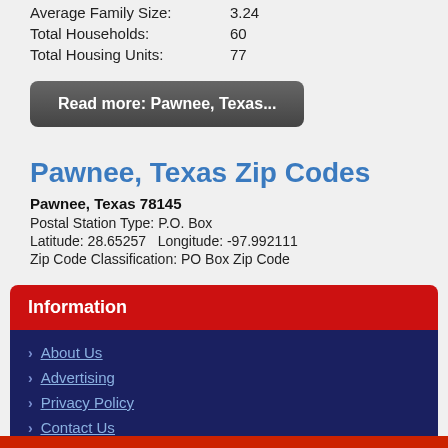Average Family Size: 3.24
Total Households: 60
Total Housing Units: 77
Read more: Pawnee, Texas...
Pawnee, Texas Zip Codes
Pawnee, Texas 78145
Postal Station Type: P.O. Box
Latitude: 28.65257   Longitude: -97.992111
Zip Code Classification: PO Box Zip Code
Information
About Us
Advertising
Privacy Policy
Contact Us
Site Map - Old Design
Site Map
Search
Disclaimer